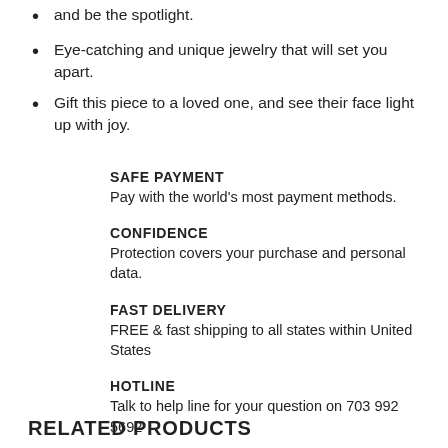and be the spotlight.
Eye-catching and unique jewelry that will set you apart.
Gift this piece to a loved one, and see their face light up with joy.
SAFE PAYMENT
Pay with the world's most payment methods.
CONFIDENCE
Protection covers your purchase and personal data.
FAST DELIVERY
FREE & fast shipping to all states within United States
HOTLINE
Talk to help line for your question on 703 992 5692
RELATED PRODUCTS